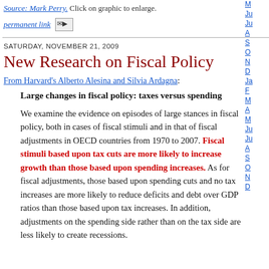Source: Mark Perry. Click on graphic to enlarge.
permanent link [email icon]
SATURDAY, NOVEMBER 21, 2009
New Research on Fiscal Policy
From Harvard's Alberto Alesina and Silvia Ardagna:
Large changes in fiscal policy: taxes versus spending
We examine the evidence on episodes of large stances in fiscal policy, both in cases of fiscal stimuli and in that of fiscal adjustments in OECD countries from 1970 to 2007. Fiscal stimuli based upon tax cuts are more likely to increase growth than those based upon spending increases. As for fiscal adjustments, those based upon spending cuts and no tax increases are more likely to reduce deficits and debt over GDP ratios than those based upon tax increases. In addition, adjustments on the spending side rather than on the tax side are less likely to create recessions.